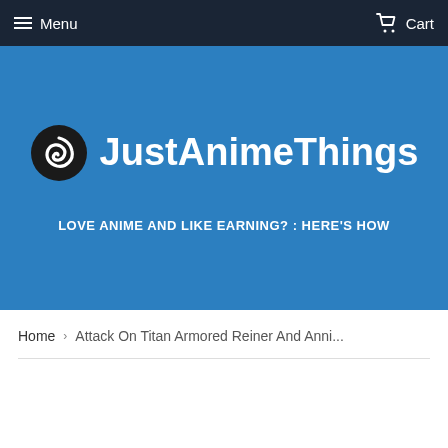Menu   Cart
[Figure (logo): JustAnimeThings logo with spiral icon and bold white text on blue background]
LOVE ANIME AND LIKE EARNING? : HERE'S HOW
Home › Attack On Titan Armored Reiner And Anni...